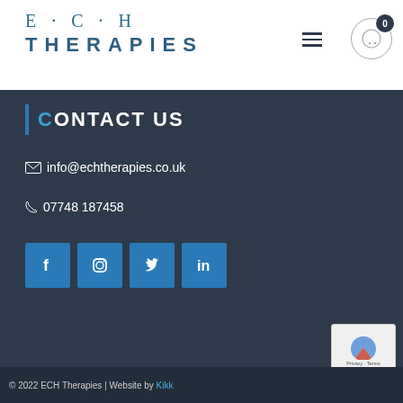E · C · H THERAPIES
CONTACT US
info@echtherapies.co.uk
07748 187458
[Figure (infographic): Social media icon buttons for Facebook, Instagram, Twitter, and LinkedIn in blue square buttons]
© 2022 ECH Therapies | Website by Kikk